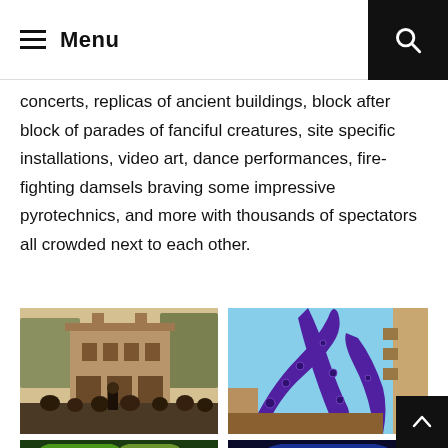Menu
concerts, replicas of ancient buildings, block after block of parades of fanciful creatures, site specific installations, video art, dance performances, fire-fighting damsels braving some impressive pyrotechnics, and more with thousands of spectators all crowded next to each other.
[Figure (photo): Crowd of people in front of a large historical stone gateway or arch building with trees in the background, daytime outdoor scene]
[Figure (photo): Large purple octopus tentacle sculpture rising between city buildings against a blue sky]
[Figure (photo): Partial view of another photo at bottom left, appears to show green/yellow light effects]
[Figure (photo): Partial view of another photo at bottom right, appears to show blue lighting]